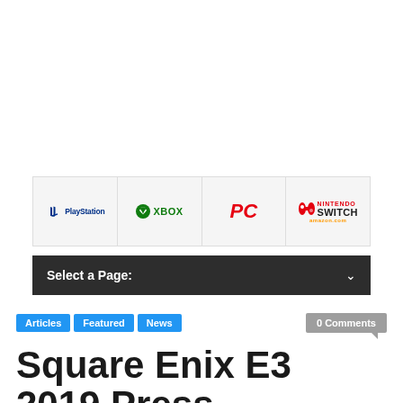[Figure (logo): Platform logos row: PlayStation, Xbox, PC, Nintendo Switch with amazon.com text]
Select a Page:
Articles
Featured
News
0 Comments
Square Enix E3 2019 Press Conference: 5